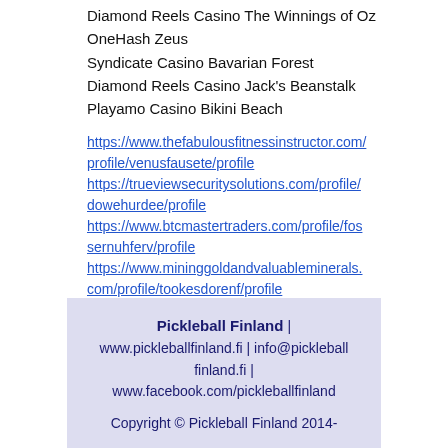Diamond Reels Casino The Winnings of Oz
OneHash Zeus
Syndicate Casino Bavarian Forest
Diamond Reels Casino Jack's Beanstalk
Playamo Casino Bikini Beach
https://www.thefabulousfitnessinstructor.com/profile/venusfausete/profile https://trueviewsecuritysolutions.com/profile/dowehurdee/profile https://www.btcmastertraders.com/profile/fossernuhferv/profile https://www.mininggoldandvaluableminerals.com/profile/tookesdorenf/profile
Pickleball Finland | www.pickleballfinland.fi | info@pickleballfin land.fi | www.facebook.com/pickleballfinland Copyright © Pickleball Finland 2014-